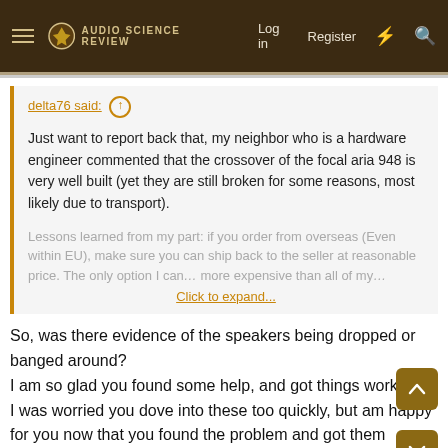Audio Science Review — Log in | Register
delta76 said: ↑

Just want to report back that, my neighbor who is a hardware engineer commented that the crossover of the focal aria 948 is very well built (yet they are still broken for some reasons, most likely due to transport).

Lessons learned from my part: if you order from overseas (Even within EU), make sure you can ship back to the seller at reasonable price. The only option I can... Click to expand...
So, was there evidence of the speakers being dropped or banged around?
I am so glad you found some help, and got things working.
I was worried you dove into these too quickly, but am happy for you now that you found the problem and got them working.
Do you have any pictures of the broken crossover? I am intrigued.